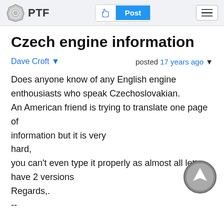PTF | Post
Czech engine information
Dave Croft ▾   posted 17 years ago ▾
Does anyone know of any English engine enthousiasts who speak Czechoslovakian. An American friend is trying to translate one page of information but it is very hard, you can't even type it properly as almost all letters have 2 versions
Regards,.
--
Dave Croft
Warrington